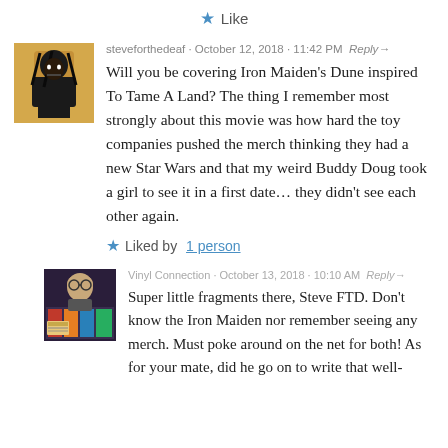Like
steveforthedeaf · October 12, 2018 · 11:42 PM · Reply→
Will you be covering Iron Maiden's Dune inspired To Tame A Land? The thing I remember most strongly about this movie was how hard the toy companies pushed the merch thinking they had a new Star Wars and that my weird Buddy Doug took a girl to see it in a first date... they didn't see each other again.
Liked by 1 person
Vinyl Connection · October 13, 2018 · 10:10 AM · Reply→
Super little fragments there, Steve FTD. Don't know the Iron Maiden nor remember seeing any merch. Must poke around on the net for both! As for your mate, did he go on to write that well-